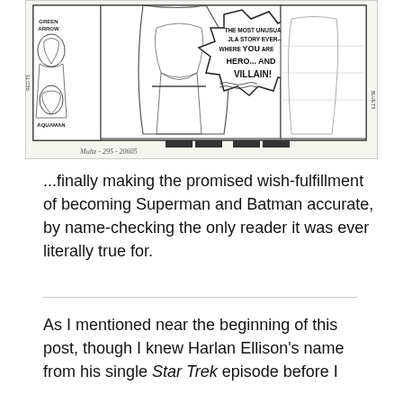[Figure (illustration): Black and white comic book art showing superhero characters including Green Arrow and Aquaman. A speech bubble reads: 'THE MOST UNUSUAL JLA STORY EVER-- WHERE YOU ARE HERO... AND VILLAIN!' with registration marks and a handwritten signature/notation at the bottom.]
...finally making the promised wish-fulfillment of becoming Superman and Batman accurate, by name-checking the only reader it was ever literally true for.
As I mentioned near the beginning of this post, though I knew Harlan Ellison's name from his single Star Trek episode before I